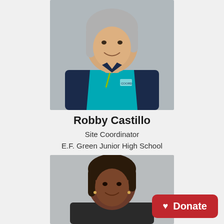[Figure (photo): Headshot of Robby Castillo, a woman with long gray hair, wearing a teal and navy polo shirt with a lanyard. Gray background.]
Robby Castillo
Site Coordinator
E.F. Green Junior High School
[Figure (photo): Headshot of a woman with shoulder-length dark hair, smiling, gray background.]
Donate